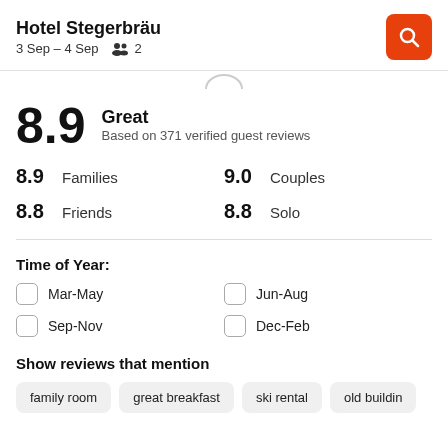Hotel Stegerbräu
3 Sep – 4 Sep  2
8.9
Great
Based on 371 verified guest reviews
8.9  Families    9.0  Couples
8.8  Friends    8.8  Solo
Time of Year:
Mar-May
Jun-Aug
Sep-Nov
Dec-Feb
Show reviews that mention
family room
great breakfast
ski rental
old buildin